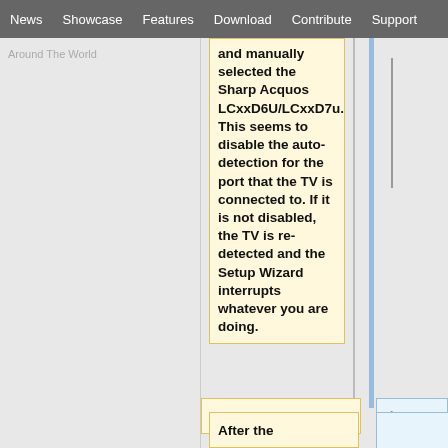News  Showcase  Features  Download  Contribute  Support
Around The World
and manually selected the Sharp Acquos LCxxD6U/LCxxD7u. This seems to disable the auto-detection for the port that the TV is connected to. If it is not disabled, the TV is re-detected and the Setup Wizard interrupts whatever you are doing.
After the